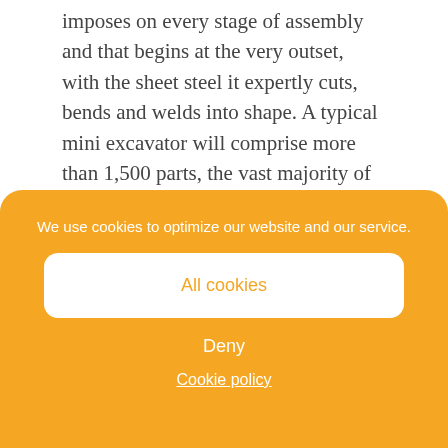imposes on every stage of assembly and that begins at the very outset, with the sheet steel it expertly cuts, bends and welds into shape. A typical mini excavator will comprise more than 1,500 parts, the vast majority of which are made at its St Dizier factory. By controlling as much of the process as possible, and eliminating external suppliers, the result is very low warranty costs, whilst all of its excavators will naturally feature Yanmar engines shipped in from Japan. St Dizier is actually one of two European production facilities, with the second in Crailsheim, Germany, and it is the plant in the Champaigne region of North
We use cookies to optimize our website and our service.
All cookies
Deny
Cookie policy